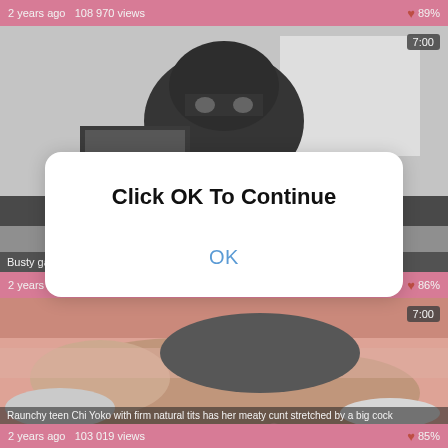2 years ago  108 970 views   ❤ 89%
[Figure (screenshot): Video thumbnail showing a person in black hijab/niqab seated indoors, black and white image. Duration badge shows 7:00.]
Busty gal Victoria June...  skeet.com
2 years ago  119 8...  ❤ 86%
[Figure (screenshot): Video thumbnail showing close-up of person on pink bed, skin tones visible. Duration badge shows 7:00.]
Raunchy teen Chi Yoko with firm natural tits has her meaty cunt stretched by a big cock
2 years ago  103 019 views   ❤ 85%
Click OK To Continue
OK